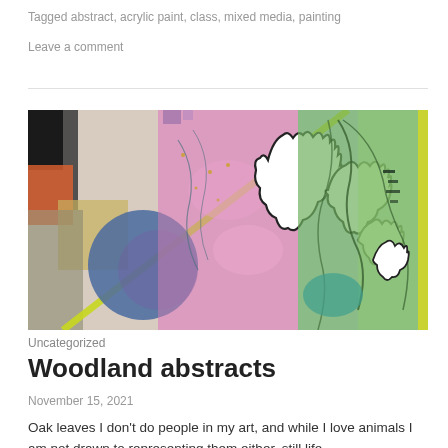Tagged abstract, acrylic paint, class, mixed media, painting
Leave a comment
[Figure (photo): Abstract mixed media artwork featuring leaf shapes, a blue circle, pink and purple backgrounds, green botanical elements, and white oak leaf silhouettes with black outlines.]
Uncategorized
Woodland abstracts
November 15, 2021
Oak leaves I don't do people in my art, and while I love animals I am not drawn to representing them either, still life